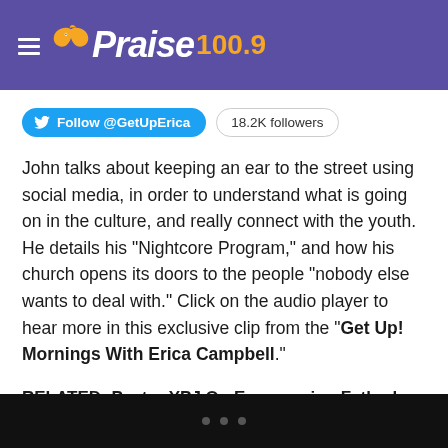Praise 100.9
[Figure (logo): Praise 100.9 radio station logo with dove and hamburger menu icon on purple background]
Follow @GetUpErica  18.2K followers
John talks about keeping an ear to the street using social media, in order to understand what is going on in the culture, and really connect with the youth. He details his “Nightcore Program,” and how his church opens its doors to the people “nobody else wants to deal with.” Click on the audio player to hear more in this exclusive clip from the “Get Up! Mornings With Erica Campbell.”
RELATED: Pastor YPJ On Empowering Fatherless Youth In The Millennial Generation [EXCLUSIVE INTERVIEW]